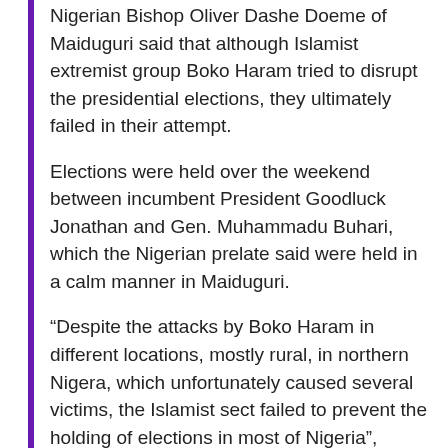Nigerian Bishop Oliver Dashe Doeme of Maiduguri said that although Islamist extremist group Boko Haram tried to disrupt the presidential elections, they ultimately failed in their attempt.
Elections were held over the weekend between incumbent President Goodluck Jonathan and Gen. Muhammadu Buhari, which the Nigerian prelate said were held in a calm manner in Maiduguri.
“Despite the attacks by Boko Haram in different locations, mostly rural, in northern Nigera, which unfortunately caused several victims, the Islamist sect failed to prevent the holding of elections in most of Nigeria”, Bishop Doeme told Fides News Agency.
Nigerian press agencies reported that although